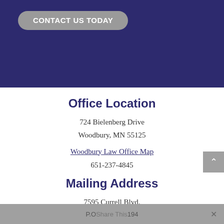[Figure (screenshot): Dark navy blue header banner with a gray rounded-rectangle button labeled CONTACT US TODAY in white bold text]
Office Location
724 Bielenberg Drive
Woodbury, MN 55125
Woodbury Law Office Map
651-237-4845
Mailing Address
7595 Currell Blvd.
P.O Share This 194